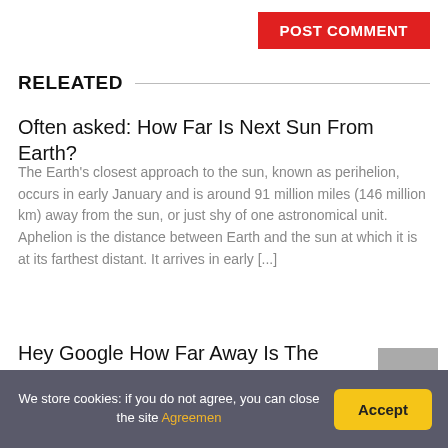POST COMMENT
RELEATED
Often asked: How Far Is Next Sun From Earth?
The Earth's closest approach to the sun, known as perihelion, occurs in early January and is around 91 million miles (146 million km) away from the sun, or just shy of one astronomical unit. Aphelion is the distance between Earth and the sun at which it is at its farthest distant. It arrives in early [...]
Hey Google How Far Away Is The Sun From The Earth?
We store cookies: if you do not agree, you can close the site Agreemen